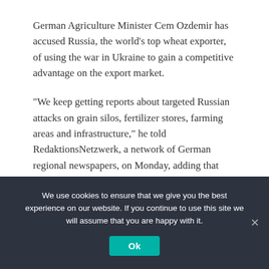German Agriculture Minister Cem Ozdemir has accused Russia, the world’s top wheat exporter, of using the war in Ukraine to gain a competitive advantage on the export market.
“We keep getting reports about targeted Russian attacks on grain silos, fertilizer stores, farming areas and infrastructure,” he told RedaktionsNetzwerk, a network of German regional newspapers, on Monday, adding that Russian President Vladimir Putin apparently aimed to “eliminate Ukraine as a competitor in the long term.”
We use cookies to ensure that we give you the best experience on our website. If you continue to use this site we will assume that you are happy with it.